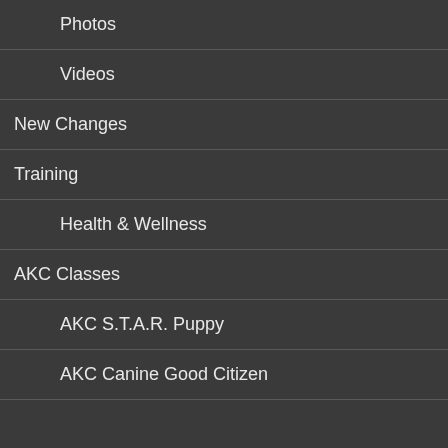Photos
Videos
New Changes
Training
Health & Wellness
AKC Classes
AKC S.T.A.R. Puppy
AKC Canine Good Citizen